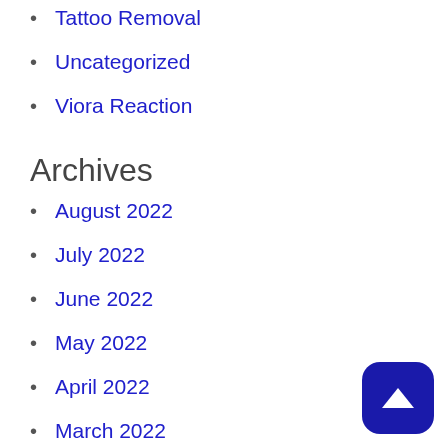Tattoo Removal
Uncategorized
Viora Reaction
Archives
August 2022
July 2022
June 2022
May 2022
April 2022
March 2022
February 2022
January 2022
December 2021
November 2021